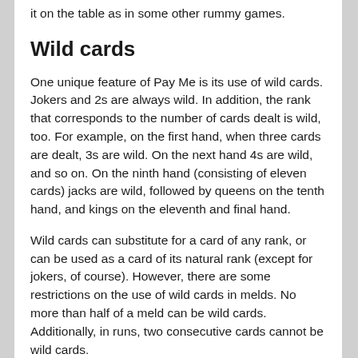it on the table as in some other rummy games.
Wild cards
One unique feature of Pay Me is its use of wild cards. Jokers and 2s are always wild. In addition, the rank that corresponds to the number of cards dealt is wild, too. For example, on the first hand, when three cards are dealt, 3s are wild. On the next hand 4s are wild, and so on. On the ninth hand (consisting of eleven cards) jacks are wild, followed by queens on the tenth hand, and kings on the eleventh and final hand.
Wild cards can substitute for a card of any rank, or can be used as a card of its natural rank (except for jokers, of course). However, there are some restrictions on the use of wild cards in melds. No more than half of a meld can be wild cards. Additionally, in runs, two consecutive cards cannot be wild cards.